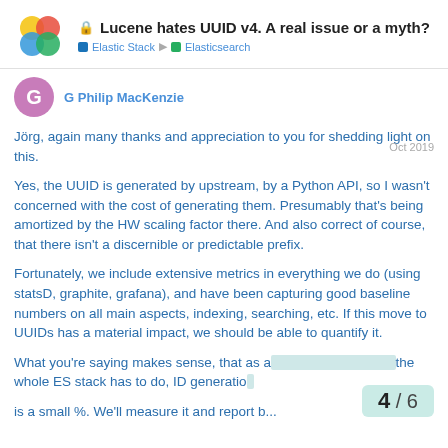Lucene hates UUID v4. A real issue or a myth?
Elastic Stack | Elasticsearch
G Philip MacKenzie
Jörg, again many thanks and appreciation to you for shedding light on this.
Yes, the UUID is generated by upstream, by a Python API, so I wasn't concerned with the cost of generating them. Presumably that's being amortized by the HW scaling factor there. And also correct of course, that there isn't a discernible or predictable prefix.
Fortunately, we include extensive metrics in everything we do (using statsD, graphite, grafana), and have been capturing good baseline numbers on all main aspects, indexing, searching, etc. If this move to UUIDs has a material impact, we should be able to quantify it.
What you're saying makes sense, that as a fraction of the work the whole ES stack has to do, ID generation... is a small %. We'll measure it and report b...
4 / 6